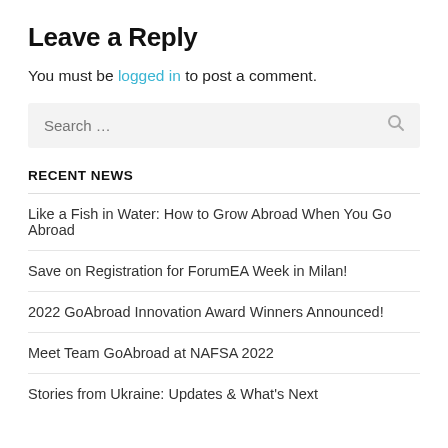Leave a Reply
You must be logged in to post a comment.
RECENT NEWS
Like a Fish in Water: How to Grow Abroad When You Go Abroad
Save on Registration for ForumEA Week in Milan!
2022 GoAbroad Innovation Award Winners Announced!
Meet Team GoAbroad at NAFSA 2022
Stories from Ukraine: Updates & What's Next